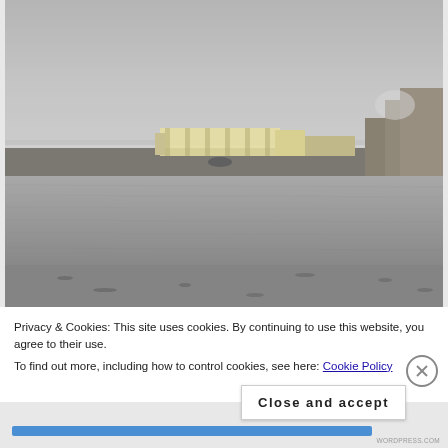[Figure (photo): A coastal/harbor scene photographed in hazy conditions. A stone pier or breakwater extends across the mid-ground with some light-colored buildings visible on it. The foreground and lower half of the image shows a flat, calm grey expanse of water or wet sand. The sky is overcast and grey.]
Privacy & Cookies: This site uses cookies. By continuing to use this website, you agree to their use. To find out more, including how to control cookies, see here: Cookie Policy
Close and accept